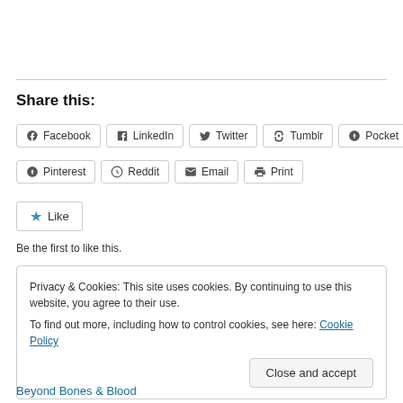Share this:
Facebook | LinkedIn | Twitter | Tumblr | Pocket
Pinterest | Reddit | Email | Print
Like
Be the first to like this.
Privacy & Cookies: This site uses cookies. By continuing to use this website, you agree to their use.
To find out more, including how to control cookies, see here: Cookie Policy
Close and accept
Beyond Bones & Blood